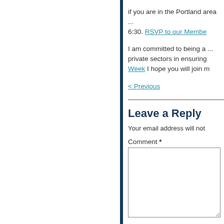if you are in the Portland area ... 6:30. RSVP to our Membe...
I am committed to being a ... private sectors in ensuring ... Week I hope you will join m...
< Previous
Leave a Reply
Your email address will not...
Comment *